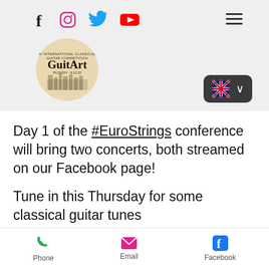[Figure (screenshot): Website header with social media icons (Facebook, Instagram, Twitter, YouTube), a hamburger menu icon, and a circular logo for GuitArt IV International Classical Guitar Competition Plovdiv 9.10.22, with a language selector showing UK flag and chevron.]
Day 1 of the #EuroStrings conference will bring two concerts, both streamed on our Facebook page!
Tune in this Thursday for some classical guitar tunes
Bozhidara Troharova
[Figure (screenshot): Mobile app bottom navigation bar with Phone, Email, and Facebook icons and labels.]